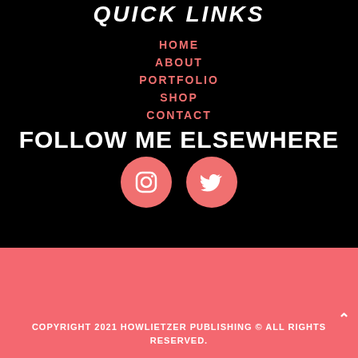QUICK LINKS
HOME
ABOUT
PORTFOLIO
SHOP
CONTACT
FOLLOW ME ELSEWHERE
[Figure (infographic): Two pink circular social media icons: Instagram and Twitter]
COPYRIGHT 2021 HOWLIETZER PUBLISHING © ALL RIGHTS RESERVED.